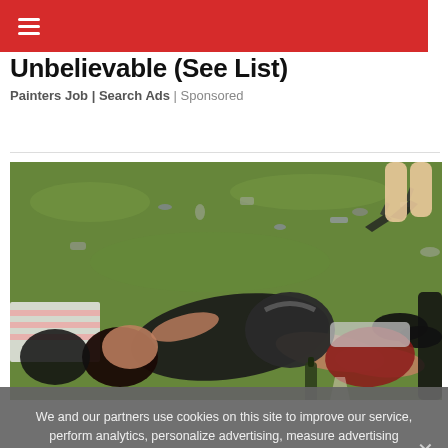☰
Unbelievable (See List)
Painters Job | Search Ads | Sponsored
[Figure (photo): Women lying on grass at an outdoor event surrounded by litter, empty bottles, and scattered items]
We and our partners use cookies on this site to improve our service, perform analytics, personalize advertising, measure advertising performance, and remember website preferences.
Ok